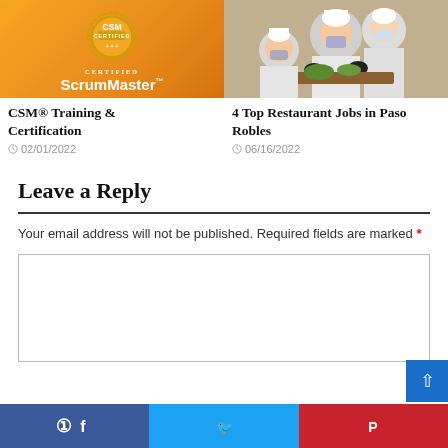[Figure (illustration): CSM Certified ScrumMaster badge logo on orange background]
[Figure (photo): Restaurant workers in white uniforms and masks preparing food in a kitchen]
CSM® Training & Certification
02/01/2022
4 Top Restaurant Jobs in Paso Robles
06/16/2022
Leave a Reply
Your email address will not be published. Required fields are marked *